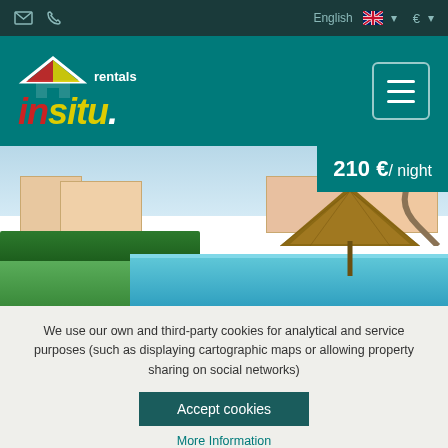Email | Phone | English € (top navigation bar)
[Figure (logo): Rentals InSitu logo with house icon in red/yellow/white on teal background, with hamburger menu button]
[Figure (photo): Outdoor pool area with thatched umbrellas, green hedges, white residential buildings in background, blue pool water]
210 €/ night
We use our own and third-party cookies for analytical and service purposes (such as displaying cartographic maps or allowing property sharing on social networks)
Accept cookies
More Information